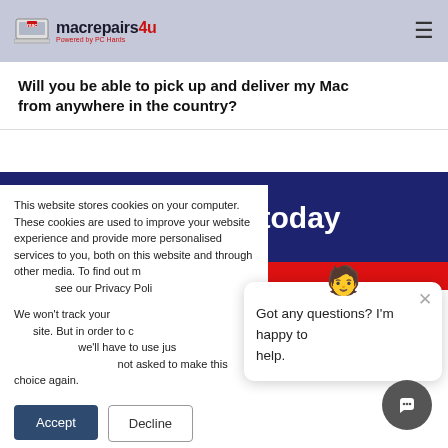macrepairs4u — Powered by PC Hards
Will you be able to pick up and deliver my Mac from anywhere in the country?
Talk to an expert today
This website stores cookies on your computer. These cookies are used to improve your website experience and provide more personalised services to you, both on this website and through other media. To find out more about the cookies we use, see our Privacy Policy.
We won't track your information when you visit our site. But in order to comply with your preferences, we'll have to use just one tiny cookie so that you're not asked to make this choice again.
Got any questions? I'm happy to help.
Accept
Decline